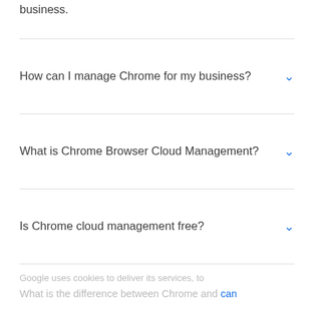business.
How can I manage Chrome for my business?
What is Chrome Browser Cloud Management?
Is Chrome cloud management free?
Google uses cookies to deliver its services, to
What is the difference between Chrome and can